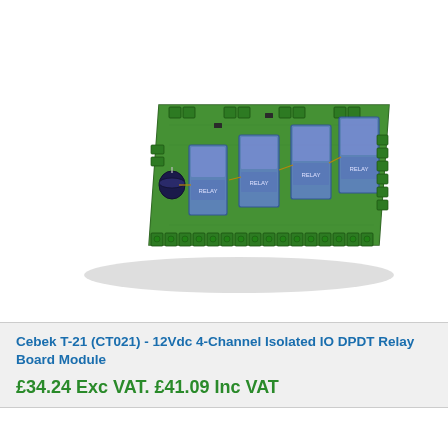[Figure (photo): Photo of a Cebek T-21 (CT021) green PCB relay board module with 4 DPDT relays, multiple green screw terminal connectors along the edges, a cylindrical capacitor, and blue relay components mounted on the board, photographed at an angle on a white background.]
Cebek T-21 (CT021) - 12Vdc 4-Channel Isolated IO DPDT Relay Board Module
£34.24 Exc VAT. £41.09 Inc VAT